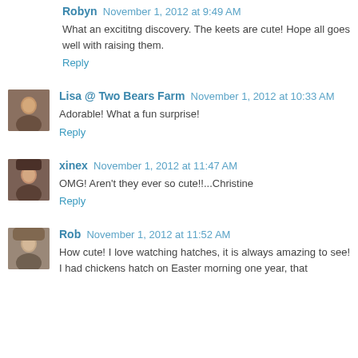Robyn November 1, 2012 at 9:49 AM
What an excitng discovery. The keets are cute! Hope all goes well with raising them.
Reply
Lisa @ Two Bears Farm November 1, 2012 at 10:33 AM
Adorable! What a fun surprise!
Reply
xinex November 1, 2012 at 11:47 AM
OMG! Aren't they ever so cute!!...Christine
Reply
Rob November 1, 2012 at 11:52 AM
How cute! I love watching hatches, it is always amazing to see! I had chickens hatch on Easter morning one year, that